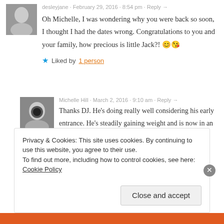desleyjane · February 29, 2016 · 8:54 pm · Reply →
Oh Michelle, I was wondering why you were back so soon, I thought I had the dates wrong. Congratulations to you and your family, how precious is little Jack?! 😊😘
★ Liked by 1 person
Michelle Hill · March 2, 2016 · 9:10 am · Reply →
Thanks DJ. He's doing really well considering his early entrance. He's steadily gaining weight and is now in an open cot. The next big step is to have him feeding without the tube.
Privacy & Cookies: This site uses cookies. By continuing to use this website, you agree to their use.
To find out more, including how to control cookies, see here: Cookie Policy
Close and accept